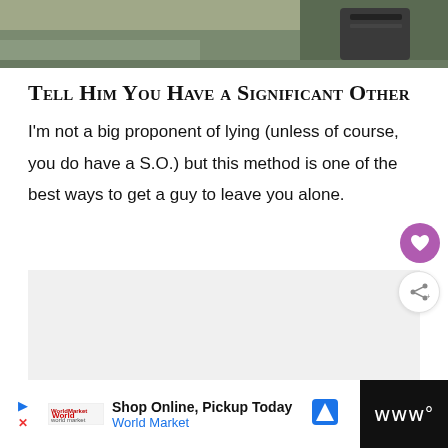[Figure (photo): Partial photo showing a person outdoors, cropped at top of page]
Tell Him You Have a Significant Other
I'm not a big proponent of lying (unless of course, you do have a S.O.) but this method is one of the best ways to get a guy to leave you alone.
[Figure (screenshot): Gray advertisement placeholder box]
Shop Online, Pickup Today World Market